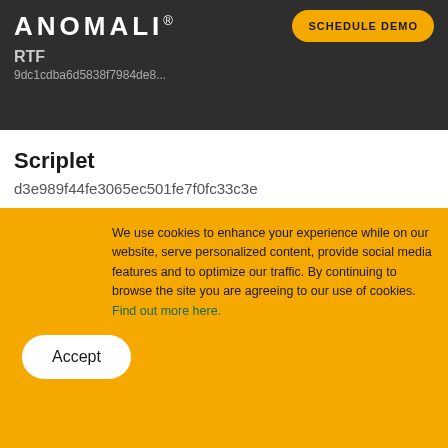ANOMALI®
RTF
9dc1cdba6d5838f7984de8...
Scriplet
d3e989f44fe3065ec501fe7f0fc33c3e
Bundled
11eb560d256383859b8135cfbbf98e30
We use cookies to enhance your experience while on our website, serve personalized content, provide social media features and to optimize our traffic. By continuing to browse the site you are agreeing to our use of cookies. Find out more here.
Accept